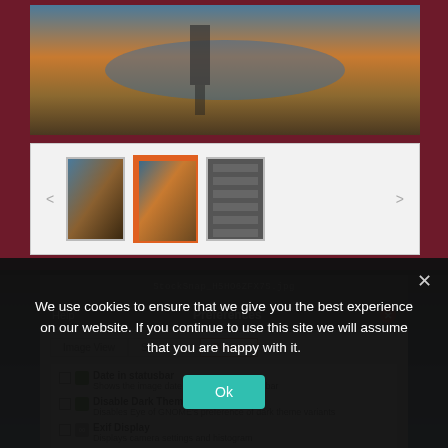[Figure (screenshot): Image viewer application showing a landscape photo with a thumbnail strip below. Three thumbnails visible, the middle one selected with orange border. Navigation arrows on sides.]
[Figure (screenshot): Preferences dialog with tabs: Image View, Slideshow, Plugins (active). Plugin list shows: Date in statusbar, Disable Dark Theme, Exif Display, Export to Folder. Each with checkbox and green icon.]
We use cookies to ensure that we give you the best experience on our website. If you continue to use this site we will assume that you are happy with it.
Ok